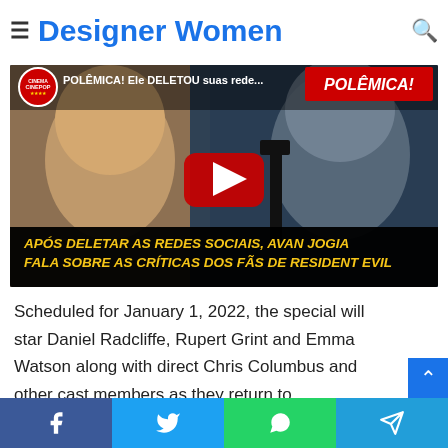Designer Women
[Figure (screenshot): YouTube video thumbnail showing two faces and a play button. Video titled 'POLÊMICA! Ele DELETOU suas rede...' from CINEPOP channel. Bottom text: 'APÓS DELETAR AS REDES SOCIAIS, AVAN JOGIA FALA SOBRE AS CRÍTICAS DOS FÃS DE RESIDENT EVIL']
Scheduled for January 1, 2022, the special will star Daniel Radcliffe, Rupert Grint and Emma Watson along with director Chris Columbus and other cast members as they return to